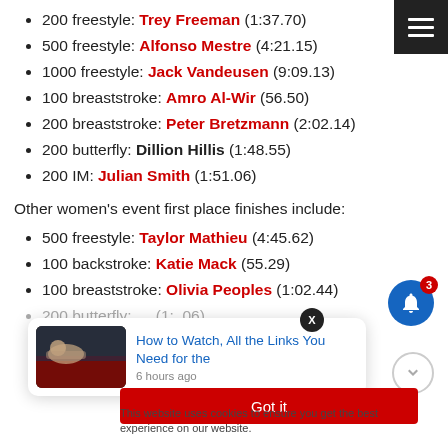200 freestyle: Trey Freeman (1:37.70)
500 freestyle: Alfonso Mestre (4:21.15)
1000 freestyle: Jack Vandeusen (9:09.13)
100 breaststroke: Amro Al-Wir (56.50)
200 breaststroke: Peter Bretzmann (2:02.14)
200 butterfly: Dillion Hillis (1:48.55)
200 IM: Julian Smith (1:51.06)
Other women's event first place finishes include:
500 freestyle: Taylor Mathieu (4:45.62)
100 backstroke: Katie Mack (55.29)
100 breaststroke: Olivia Peoples (1:02.44)
[Figure (screenshot): Popup card showing a swimmer photo thumbnail and a link 'How to Watch, All the Links You Need for the' with timestamp '6 hours ago' and an X close button]
[Figure (infographic): Blue bell notification icon with red badge showing '3' and a hamburger menu button in dark background]
Got it
This website uses cookies to ensure you get the best experience on our website.